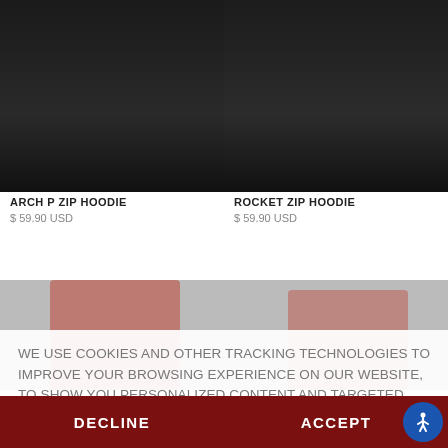[Figure (photo): Two product photos side by side: left shows ARCH P ZIP HOODIE (black hoodie, person's torso), right shows ROCKET ZIP HOODIE (black hoodie, person's torso)]
ARCH P ZIP HOODIE
$ 59.90 USD
ROCKET ZIP HOODIE
$ 59.90 USD
WE USE COOKIES AND OTHER TRACKING TECHNOLOGIES TO IMPROVE YOUR BROWSING EXPERIENCE ON OUR WEBSITE, TO SHOW YOU PERSONALIZED CONTENT AND TARGETED ADS, TO ANALYZE OUR WEBSITE TRAFFIC, AND TO UNDERSTAND WHERE OUR VISITORS ARE COMING FROM. BY BROWSING OUR WEBSITE, YOU CONSENT TO OUR USE OF COOKIES AND OTHER TRACKING TECHNOLOGIES.  LEARN MORE
DECLINE
ACCEPT